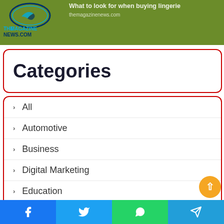What to look for when buying lingerie
[Figure (logo): TheMagazineNews.com logo with blue oval emblem and teal/dark blue text]
Categories
All
Automotive
Business
Digital Marketing
Education
Electronics
Facebook | Twitter | WhatsApp | Telegram